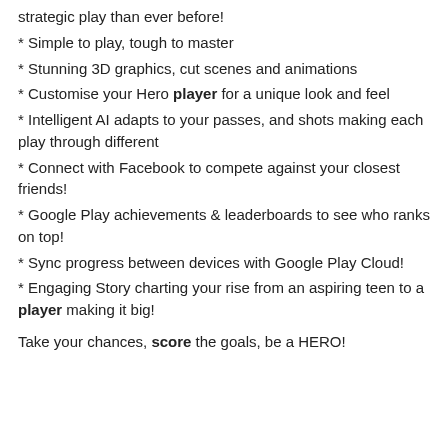strategic play than ever before!
* Simple to play, tough to master
* Stunning 3D graphics, cut scenes and animations
* Customise your Hero player for a unique look and feel
* Intelligent AI adapts to your passes, and shots making each play through different
* Connect with Facebook to compete against your closest friends!
* Google Play achievements & leaderboards to see who ranks on top!
* Sync progress between devices with Google Play Cloud!
* Engaging Story charting your rise from an aspiring teen to a player making it big!
Take your chances, score the goals, be a HERO!